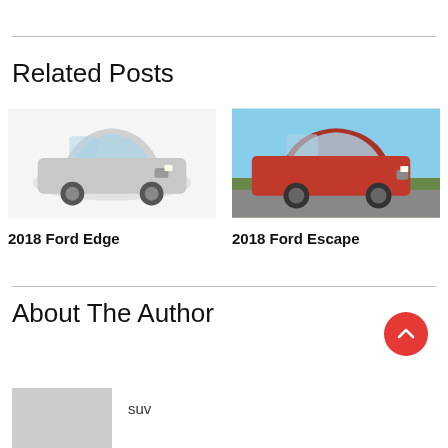Related Posts
[Figure (photo): Silver Ford Edge SUV on white background]
2018 Ford Edge
[Figure (photo): Red Ford Escape SUV driving on road outdoors]
2018 Ford Escape
About The Author
[Figure (photo): Gray placeholder image for author photo]
suv